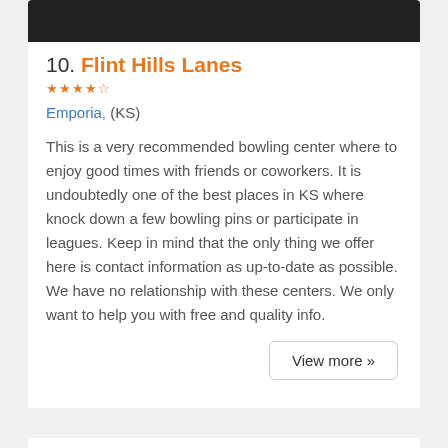[Figure (photo): Dark/black image at top of card, partial view]
10. Flint Hills Lanes
Emporia, (KS)
This is a very recommended bowling center where to enjoy good times with friends or coworkers. It is undoubtedly one of the best places in KS where knock down a few bowling pins or participate in leagues. Keep in mind that the only thing we offer here is contact information as up-to-date as possible. We have no relationship with these centers. We only want to help you with free and quality info.
View more »
Shawnee County Main Cities